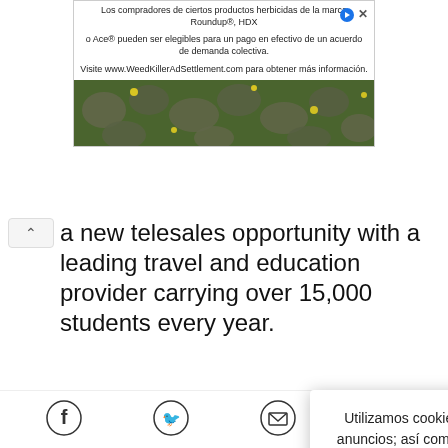[Figure (screenshot): Advertisement banner with Spanish text about Roundup herbicide settlement and weedkiller image]
a new telesales opportunity with a leading travel and education provider carrying over 15,000 students every year.
Basic + com
[adsense]
Spanish Speaking Specialist
LOVEFiLM.com
[Figure (screenshot): Cookie consent overlay in Spanish: Utilizamos cookies para personalizar contenido y anuncios; así como para proporcionar funciones de redes sociales y analizar el tráfico de esta web. También compartimos información sobre tu uso de este sitio con nuestros socios de redes sociales, de publicidad y de análisis de tráfico. With Aceptar and Más buttons.]
[Figure (infographic): Social sharing bar with Facebook, Twitter, Email, and WhatsApp icons]